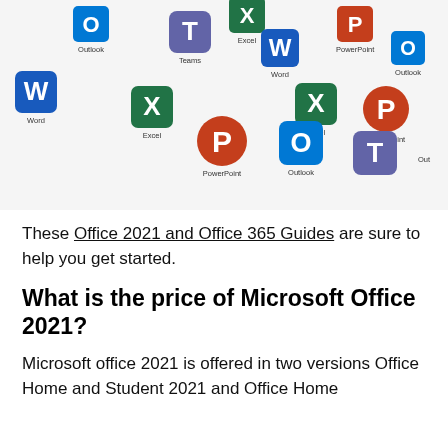[Figure (illustration): Microsoft Office 2021 app icons scattered on white background including Word, Excel, PowerPoint, Outlook, Teams icons repeated multiple times]
These Office 2021 and Office 365 Guides are sure to help you get started.
What is the price of Microsoft Office 2021?
Microsoft office 2021 is offered in two versions Office Home and Student 2021 and Office Home